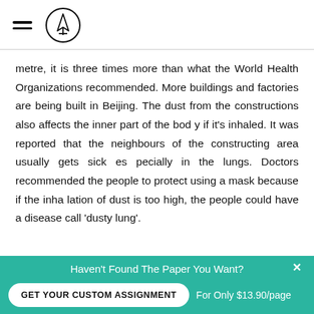[Figure (logo): Hamburger menu icon and circular logo with pencil/pen design]
metre, it is three times more than what the World Health Organizations recommended. More buildings and factories are being built in Beijing. The dust from the constructions also affects the inner part of the bod y if it's inhaled. It was reported that the neighbours of the constructing area usually gets sick es pecially in the lungs. Doctors recommended the people to protect using a mask because if the inha lation of dust is too high, the people could have a disease call 'dusty lung'.
Haven't Found The Paper You Want?
GET YOUR CUSTOM ASSIGNMENT
For Only $13.90/page